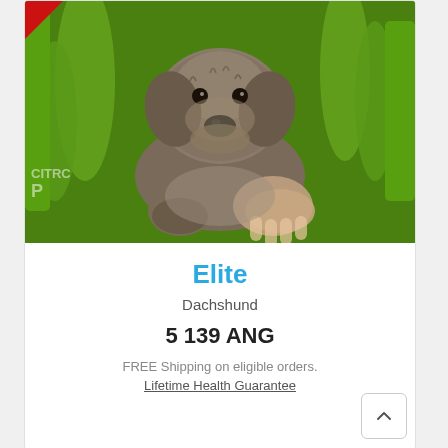[Figure (photo): Close-up photo of a wire-haired Dachshund puppy with gray-brown fur, looking at the camera, held by a hand against a green grass background. Watermark text visible in lower left.]
Elite
Dachshund
5 139 ANG
FREE Shipping on eligible orders.
Lifetime Health Guarantee